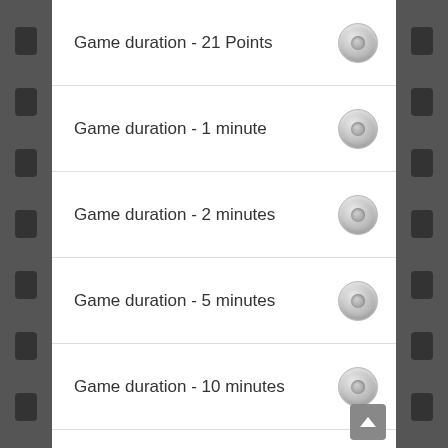Game duration - 21 Points
Game duration - 1 minute
Game duration - 2 minutes
Game duration - 5 minutes
Game duration - 10 minutes